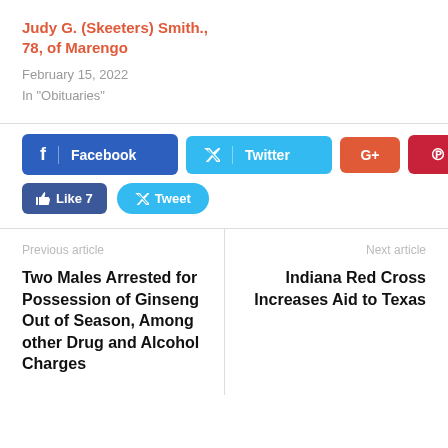Judy G. (Skeeters) Smith., 78, of Marengo
February 15, 2022
In "Obituaries"
[Figure (screenshot): Social media share buttons: Facebook, Twitter, Google+, Pinterest, Like 7, Tweet]
Previous article
Two Males Arrested for Possession of Ginseng Out of Season, Among other Drug and Alcohol Charges
Next article
Indiana Red Cross Increases Aid to Texas